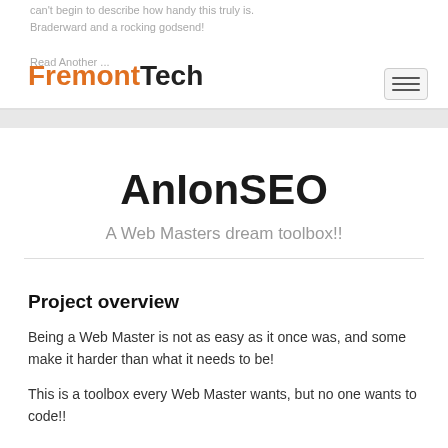can't begin to describe how handy this truly is. Braderward and a rocking godsend! FremontTech Read Another ...
AnIonSEO
A Web Masters dream toolbox!!
Project overview
Being a Web Master is not as easy as it once was, and some make it harder than what it needs to be!
This is a toolbox every Web Master wants, but no one wants to code!!